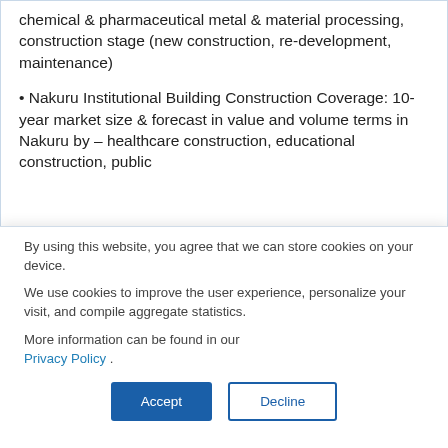chemical & pharmaceutical metal & material processing, construction stage (new construction, re-development, maintenance)
• Nakuru Institutional Building Construction Coverage: 10-year market size & forecast in value and volume terms in Nakuru by – healthcare construction, educational construction, public
By using this website, you agree that we can store cookies on your device.
We use cookies to improve the user experience, personalize your visit, and compile aggregate statistics.
More information can be found in our Privacy Policy .